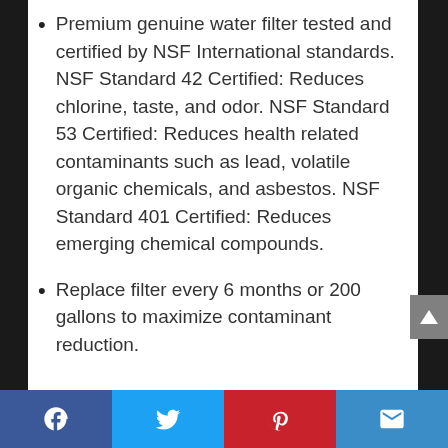Premium genuine water filter tested and certified by NSF International standards. NSF Standard 42 Certified: Reduces chlorine, taste, and odor. NSF Standard 53 Certified: Reduces health related contaminants such as lead, volatile organic chemicals, and asbestos. NSF Standard 401 Certified: Reduces emerging chemical compounds.
Replace filter every 6 months or 200 gallons to maximize contaminant reduction.